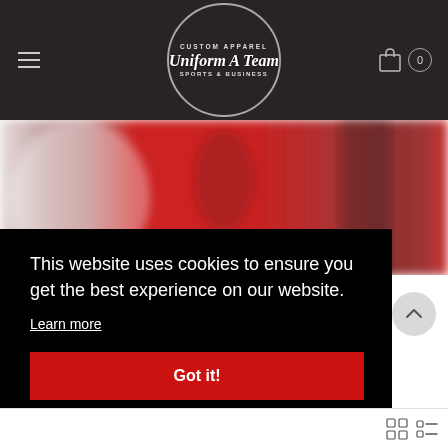Uniform A Team – Custom Apparel Sports & Business
[Figure (photo): Blurred product photo showing red sports apparel/jerseys on mannequins or people]
This website uses cookies to ensure you get the best experience on our website.
Learn more
Got it!